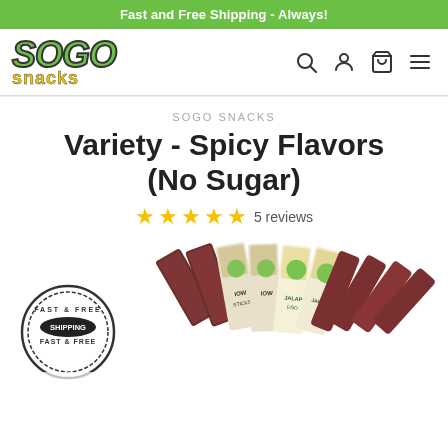Fast and Free Shipping - Always!
[Figure (logo): SOGO Snacks logo with green SOGO text and yellow snacks text]
SOGO SNACKS
Variety - Spicy Flavors (No Sugar)
★★★★★ 5 reviews
[Figure (photo): Product photo showing variety of spicy beef jerky sticks with Fast & Free Shipping stamp, Iowa and Jalapeño flavor packages fanned out]